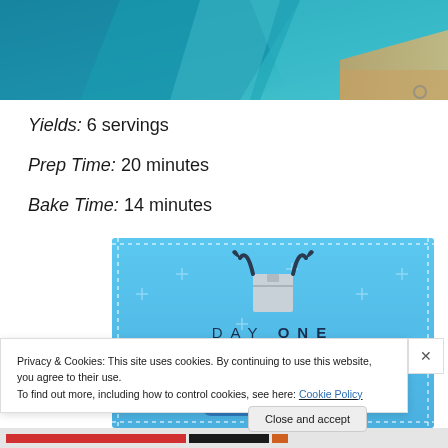[Figure (photo): Partial photograph of blue fabric/cloth on a wooden surface, cropped at top of page]
Yields: 6 servings
Prep Time: 20 minutes
Bake Time: 14 minutes
[Figure (illustration): Day One journaling app advertisement. Blue background with plus signs, icon of figure holding a box, text reads DAY ONE - The only journaling app you'll ever need.]
Privacy & Cookies: This site uses cookies. By continuing to use this website, you agree to their use.
To find out more, including how to control cookies, see here: Cookie Policy
Close and accept